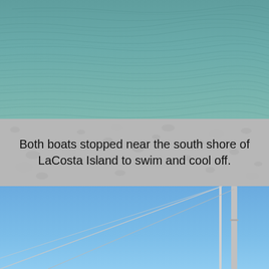[Figure (photo): Aerial or close-up view of teal-green water surface, slightly rippled, near the shore of LaCosta Island.]
Both boats stopped near the south shore of LaCosta Island to swim and cool off.
[Figure (photo): View looking up at sailboat mast and rigging lines against a clear blue sky.]